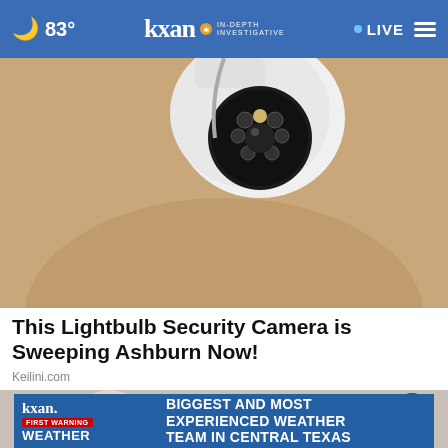🌙 83° | kxan IN-DEPTH INVESTIGATIVE | LIVE
[Figure (photo): Close-up photo of a lightbulb security camera mounted on a wall/ceiling, showing a white spherical camera housing with a circular black lens and LED array]
This Lightbulb Security Camera is Sweeping Ashburn Now!
Keilini.com
[Figure (photo): Photo of a middle-aged blonde woman relaxing in a bathtub with eyes closed, white tiled bathroom background with a faucet visible]
[Figure (screenshot): KXAN First Warning Weather banner advertisement: BIGGEST AND MOST EXPERIENCED WEATHER TEAM IN CENTRAL TEXAS]